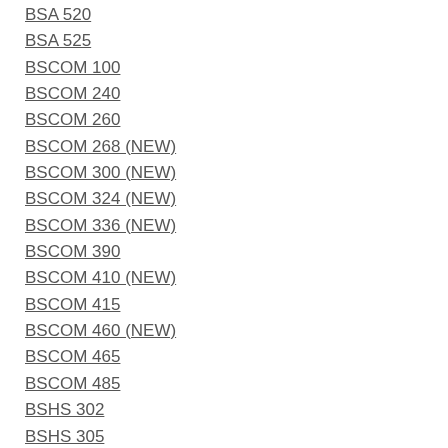BSA 520
BSA 525
BSCOM 100
BSCOM 240
BSCOM 260
BSCOM 268 (NEW)
BSCOM 300 (NEW)
BSCOM 324 (NEW)
BSCOM 336 (NEW)
BSCOM 390
BSCOM 410 (NEW)
BSCOM 415
BSCOM 460 (NEW)
BSCOM 465
BSCOM 485
BSHS 302
BSHS 305
BSHS 311
BSHS 312